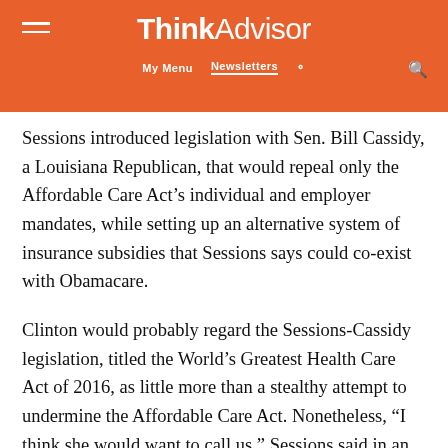ThinkAdvisor — Newsletters
Sessions introduced legislation with Sen. Bill Cassidy, a Louisiana Republican, that would repeal only the Affordable Care Act's individual and employer mandates, while setting up an alternative system of insurance subsidies that Sessions says could co-exist with Obamacare.
Clinton would probably regard the Sessions-Cassidy legislation, titled the World's Greatest Health Care Act of 2016, as little more than a stealthy attempt to undermine the Affordable Care Act. Nonetheless, “I think she would want to call us,” Sessions said in an interview.